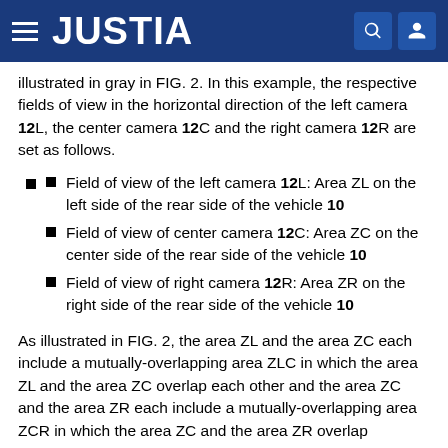JUSTIA
illustrated in gray in FIG. 2. In this example, the respective fields of view in the horizontal direction of the left camera 12L, the center camera 12C and the right camera 12R are set as follows.
Field of view of the left camera 12L: Area ZL on the left side of the rear side of the vehicle 10
Field of view of center camera 12C: Area ZC on the center side of the rear side of the vehicle 10
Field of view of right camera 12R: Area ZR on the right side of the rear side of the vehicle 10
As illustrated in FIG. 2, the area ZL and the area ZC each include a mutually-overlapping area ZLC in which the area ZL and the area ZC overlap each other and the area ZC and the area ZR each include a mutually-overlapping area ZCR in which the area ZC and the area ZR overlap